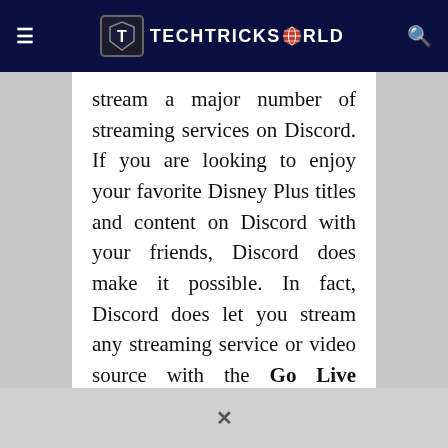TECHTRICKSWORLD
stream a major number of streaming services on Discord. If you are looking to enjoy your favorite Disney Plus titles and content on Discord with your friends, Discord does make it possible. In fact, Discord does let you stream any streaming service or video source with the Go Live feature on it.
So, if you are looking for the answer